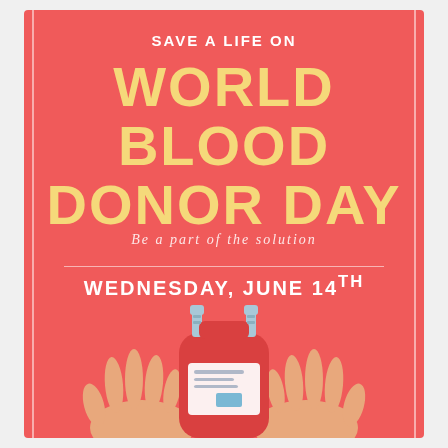SAVE A LIFE ON
WORLD BLOOD DONOR DAY
Be a part of the solution
WEDNESDAY, JUNE 14TH
[Figure (illustration): Two hands (peach/light skin) holding a red blood donation bag with a label/tag on it. The bag has a blue-grey tube/connector at the top. The illustration is flat/vector style.]